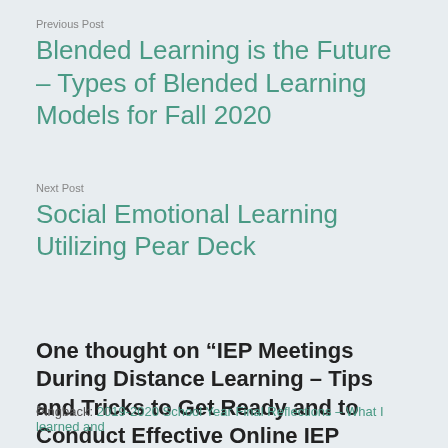Previous Post
Blended Learning is the Future – Types of Blended Learning Models for Fall 2020
Next Post
Social Emotional Learning Utilizing Pear Deck
One thought on “IEP Meetings During Distance Learning – Tips and Tricks to Get Ready and to Conduct Effective Online IEP Meetings”
Pingback: 2019-2020 School Year Final Reflections – What I learned and